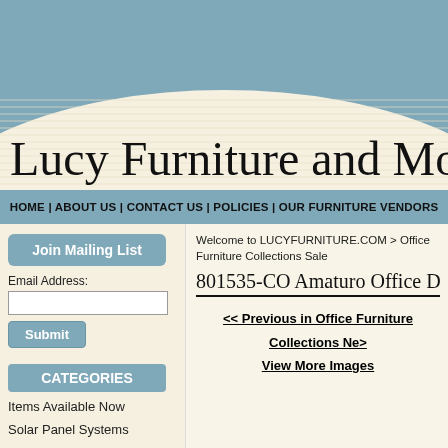[Figure (screenshot): Lucy Furniture and More website header banner with teal background and beige striped area]
Lucy Furniture and More
HOME | ABOUT US | CONTACT US | POLICIES | OUR FURNITURE VENDORS
Join Mailing List
Email Address:
Submit
CATEGORIES
Items Available Now
Solar Panel Systems
Signature Design Deals
HOT DEALS
CLEARANCE ITEMS
CONTEMPORARY FURNITURE
Welcome to LUCYFURNITURE.COM > Office Furniture Collections Sale
801535-CO Amaturo Office Desk
<< Previous in Office Furniture Collections Next View More Images